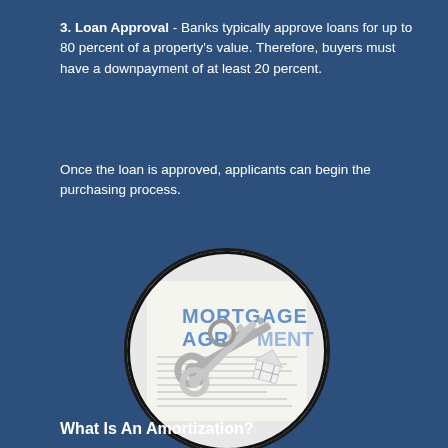3. Loan Approval - Banks typically approve loans for up to 80 percent of a property's value. Therefore, buyers must have a downpayment of at least 20 percent.
Once the loan is approved, applicants can begin the purchasing process.
[Figure (photo): Circular photo showing keys resting on a mortgage agreement document, with a house-shaped keychain. Text on document reads 'MORTGAGE AGREEMENT'.]
What Is An Amortization?